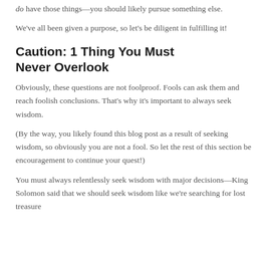do have those things—you should likely pursue something else.
We've all been given a purpose, so let's be diligent in fulfilling it!
Caution: 1 Thing You Must Never Overlook
Obviously, these questions are not foolproof. Fools can ask them and reach foolish conclusions. That's why it's important to always seek wisdom.
(By the way, you likely found this blog post as a result of seeking wisdom, so obviously you are not a fool. So let the rest of this section be encouragement to continue your quest!)
You must always relentlessly seek wisdom with major decisions—King Solomon said that we should seek wisdom like we're searching for lost treasure